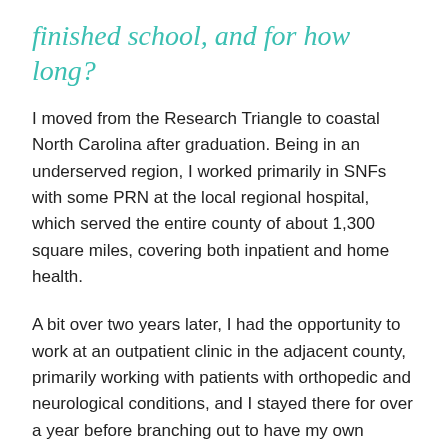finished school, and for how long?
I moved from the Research Triangle to coastal North Carolina after graduation. Being in an underserved region, I worked primarily in SNFs with some PRN at the local regional hospital, which served the entire county of about 1,300 square miles, covering both inpatient and home health.
A bit over two years later, I had the opportunity to work at an outpatient clinic in the adjacent county, primarily working with patients with orthopedic and neurological conditions, and I stayed there for over a year before branching out to have my own mobile PT and wellness practice.